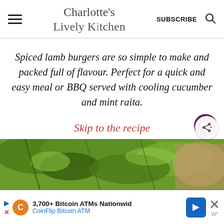Charlotte's Lively Kitchen
Spiced lamb burgers are so simple to make and packed full of flavour. Perfect for a quick and easy meal or BBQ served with cooling cucumber and mint raita.
Skip to the recipe
[Figure (photo): Food photo showing green herbs and vegetables, partially visible at bottom of page]
3,700+ Bitcoin ATMs Nationwid
CoinFlip Bitcoin ATM